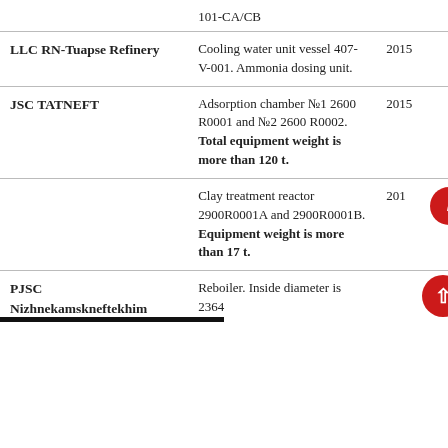| Client | Equipment Description | Year |
| --- | --- | --- |
|  | 101-CA/CB |  |
| LLC RN-Tuapse Refinery | Cooling water unit vessel 407-V-001. Ammonia dosing unit. | 2015 |
| JSC TATNEFT | Adsorption chamber №1 2600 R0001 and №2 2600 R0002. Total equipment weight is more than 120 t. | 2015 |
|  | Clay treatment reactor 2900R0001A and 2900R0001B. Equipment weight is more than 17 t. | 2015 |
| PJSC Nizhnekamskneftekhim | Reboiler. Inside diameter is 2364 ... |  |